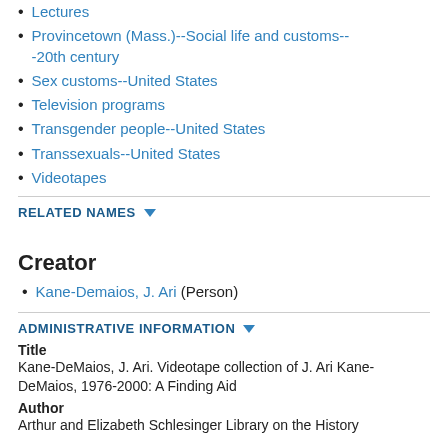Lectures
Provincetown (Mass.)--Social life and customs--20th century
Sex customs--United States
Television programs
Transgender people--United States
Transsexuals--United States
Videotapes
RELATED NAMES
Creator
Kane-Demaios, J. Ari (Person)
ADMINISTRATIVE INFORMATION
Title
Kane-DeMaios, J. Ari. Videotape collection of J. Ari Kane-DeMaios, 1976-2000: A Finding Aid
Author
Arthur and Elizabeth Schlesinger Library on the History